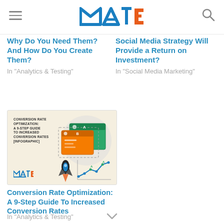MTE logo header with hamburger menu and search icon
Why Do You Need Them? And How Do You Create Them?
In "Analytics & Testing"
Social Media Strategy Will Provide a Return on Investment?
In "Social Media Marketing"
[Figure (infographic): Conversion Rate Optimization infographic thumbnail showing A/B testing screens, a rocket, and a line chart with the text: CONVERSION RATE OPTIMIZATION: A 9-STEP GUIDE TO INCREASED CONVERSION RATES [INFOGRAPHIC]]
Conversion Rate Optimization: A 9-Step Guide To Increased Conversion Rates
In "Analytics & Testing"